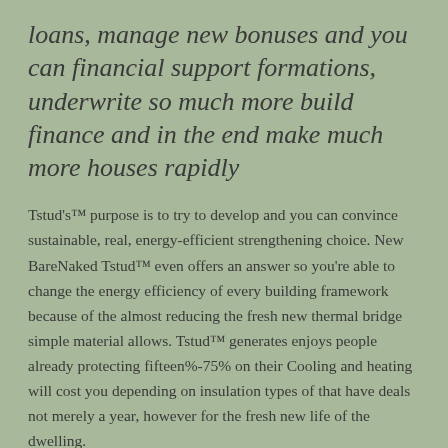loans, manage new bonuses and you can financial support formations, underwrite so much more build finance and in the end make much more houses rapidly
Tstud's™ purpose is to try to develop and you can convince sustainable, real, energy-efficient strengthening choice. New BareNaked Tstud™ even offers an answer so you're able to change the energy efficiency of every building framework because of the almost reducing the fresh new thermal bridge simple material allows. Tstud™ generates enjoys people already protecting fifteen%-75% on their Cooling and heating will cost you depending on insulation types of that have deals not merely a year, however for the fresh new life of the dwelling.
"Improving lives. Strengthening tomorrow." We performs